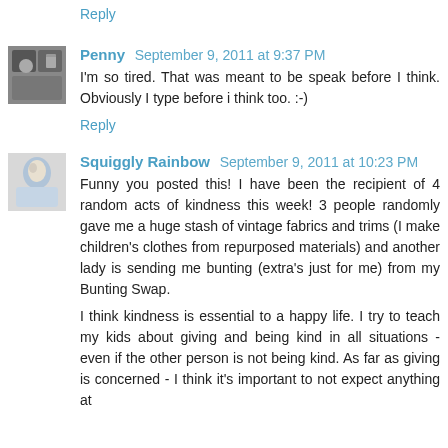Reply
Penny  September 9, 2011 at 9:37 PM
I'm so tired. That was meant to be speak before I think. Obviously I type before i think too. :-)
Reply
Squiggly Rainbow  September 9, 2011 at 10:23 PM
Funny you posted this! I have been the recipient of 4 random acts of kindness this week! 3 people randomly gave me a huge stash of vintage fabrics and trims (I make children's clothes from repurposed materials) and another lady is sending me bunting (extra's just for me) from my Bunting Swap.
I think kindness is essential to a happy life. I try to teach my kids about giving and being kind in all situations - even if the other person is not being kind. As far as giving is concerned - I think it's important to not expect anything at all in return - it's with a good/ful heart you can give it the